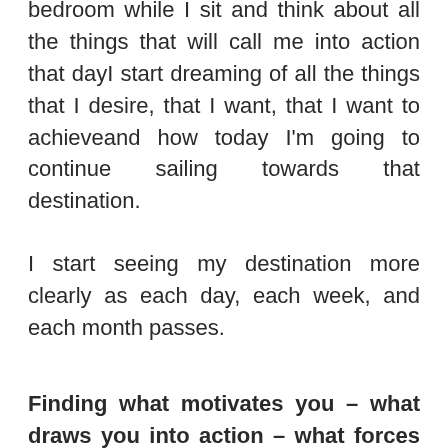bedroom while I sit and think about all the things that will call me into action that dayI start dreaming of all the things that I desire, that I want, that I want to achieveand how today I'm going to continue sailing towards that destination.
I start seeing my destination more clearly as each day, each week, and each month passes.
Finding what motivates you – what draws you into action – what forces you to physically move and